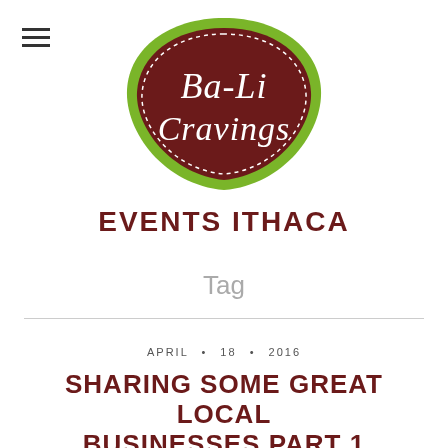[Figure (logo): Ba-Li Cravings logo: dark brown ornate badge shape with green border and white script text reading Ba-Li Cravings]
EVENTS ITHACA
Tag
APRIL • 18 • 2016
SHARING SOME GREAT LOCAL BUSINESSES PART 1